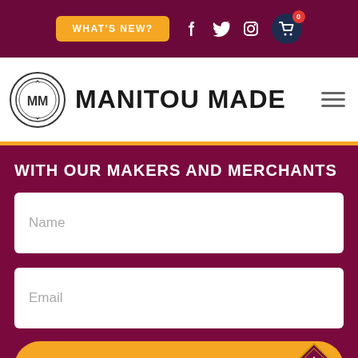WHAT'S NEW? [nav bar with social icons and cart]
[Figure (logo): Manitou Made logo with MM circle emblem and hamburger menu]
WITH OUR MAKERS AND MERCHANTS
Name
Email
SUBMIT